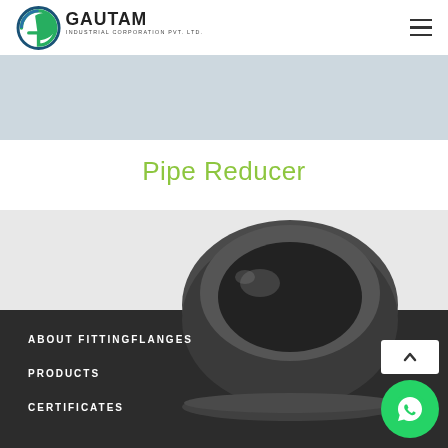[Figure (logo): Gautam Industrial Corporation Pvt. Ltd. logo with green G icon and company name text]
[Figure (photo): Photo of a dark metallic pipe reducer/cap fitting]
Pipe Reducer
ABOUT FITTINGFLANGES
PRODUCTS
CERTIFICATES